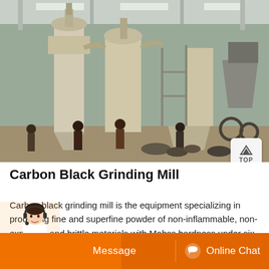[Figure (photo): Industrial grinding mill equipment inside a large warehouse/factory. Several workers stand around large cream/beige colored industrial grinding mill machinery. The machines are tall with cyclone separators and hoppers. Various equipment and industrial parts are visible on the concrete floor.]
Carbon Black Grinding Mill
Carbon black grinding mill is the equipment specializing in producing fine and superfine powder of non-inflammable, non-explosive and brittle materials with Mohss hardness under six, such as calcite, chalk, b...